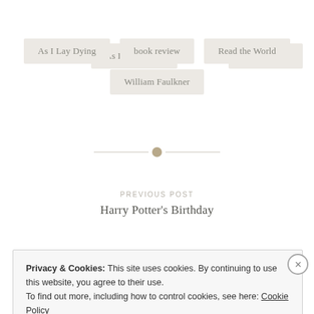As I Lay Dying
book review
Read the World
William Faulkner
[Figure (other): Horizontal rule with central decorative dot]
PREVIOUS POST
Harry Potter's Birthday
Privacy & Cookies: This site uses cookies. By continuing to use this website, you agree to their use.
To find out more, including how to control cookies, see here: Cookie Policy
Close and accept